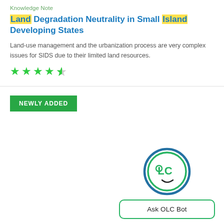Knowledge Note
Land Degradation Neutrality in Small Island Developing States
Land-use management and the urbanization process are very complex issues for SIDS due to their limited land resources.
[Figure (other): 4.5 green star rating]
NEWLY ADDED
[Figure (logo): OLC Bot face logo — circular with blue and green ring, stylized OLC eyes and smile]